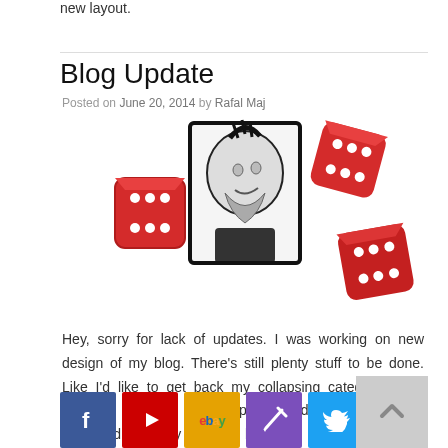new layout.
Blog Update
Posted on June 20, 2014 by Rafal Maj
[Figure (illustration): Illustration of a person with a mohawk hairstyle in a sketched style, surrounded by three red dice on white background]
Hey, sorry for lack of updates. I was working on new design of my blog. There’s still plenty stuff to be done. Like I’d like to get back my collapsing categories and updating blogroll. Some posts and pages are not displayed properly yet. I’ll be fixing that as soon as possible. I’ll start posting new [...]
[Figure (infographic): Social media icon bar: Facebook, YouTube, eBay, pen/blog icon, Twitter, Instagram]